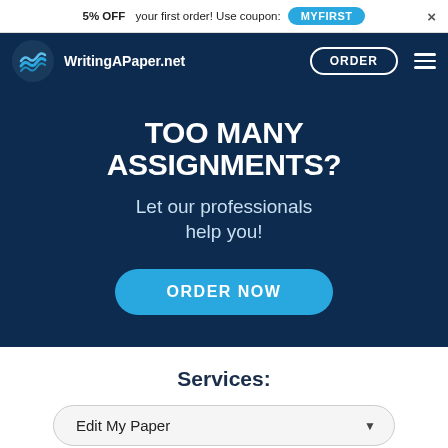5% OFF your first order! Use coupon: MYFIRST ×
[Figure (logo): WritingAPaper.net circular logo with blue wave/bird icon]
WritingAPaper.net
ORDER
TOO MANY ASSIGNMENTS?
Let our professionals help you!
ORDER NOW
Services:
Edit My Paper ▼